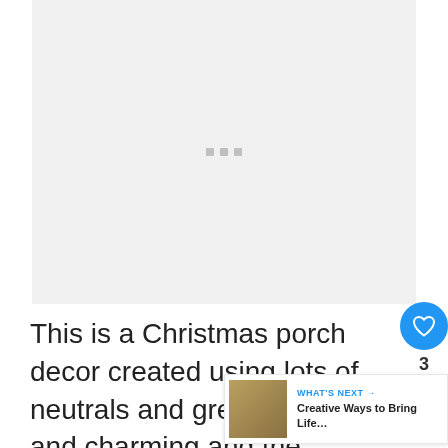[Figure (photo): Loading placeholder for a Christmas porch decor image — light gray rectangle with three small gray square dots centered]
This is a Christmas porch decor created using lots of neutrals and greenery, fresh and charming and the doormat really
[Figure (infographic): WHAT'S NEXT → Creative Ways to Bring Life… thumbnail widget in bottom right corner]